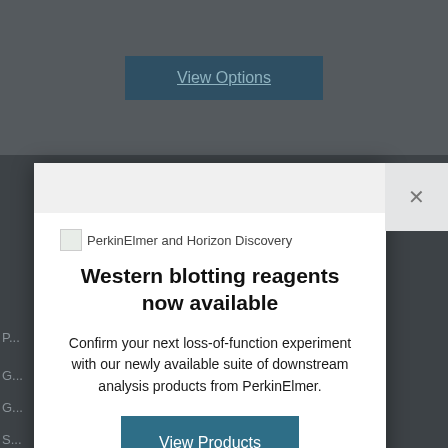[Figure (screenshot): Dark background of a website with a 'View Options' button in teal/navy color]
[Figure (screenshot): Modal popup dialog with PerkinElmer and Horizon Discovery branding, promoting Western blotting reagents with View Products and Not right now options]
Western blotting reagents now available
Confirm your next loss-of-function experiment with our newly available suite of downstream analysis products from PerkinElmer.
Not right now
Please feel free to visit our Privacy Policy and Cookie